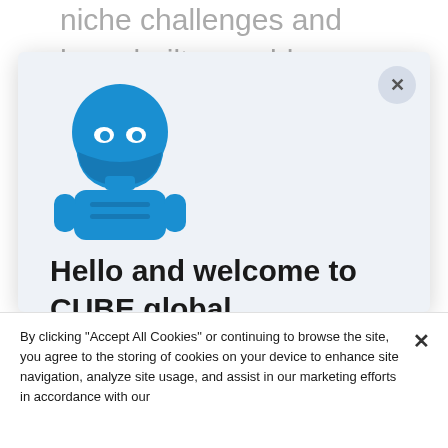niche challenges and have built a world leading RegTech to manage and make sense of your regulatory world.
It's no secret that the volume and
[Figure (illustration): Blue robot/ninja mascot icon for CUBE.global, a cartoon robot with a ninja mask]
Hello and welcome to CUBE.global
It looks like you're joining us from the US
By clicking "Accept All Cookies" or continuing to browse the site, you agree to the storing of cookies on your device to enhance site navigation, analyze site usage, and assist in our marketing efforts in accordance with our